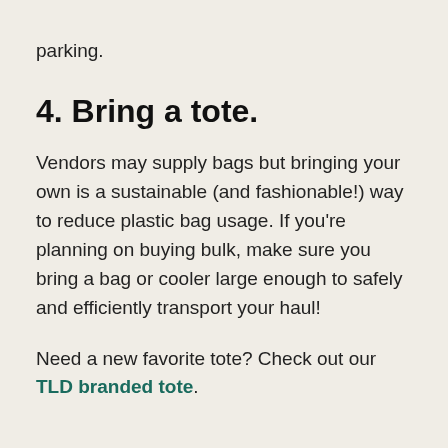parking.
4. Bring a tote.
Vendors may supply bags but bringing your own is a sustainable (and fashionable!) way to reduce plastic bag usage. If you're planning on buying bulk, make sure you bring a bag or cooler large enough to safely and efficiently transport your haul!
Need a new favorite tote? Check out our TLD branded tote.